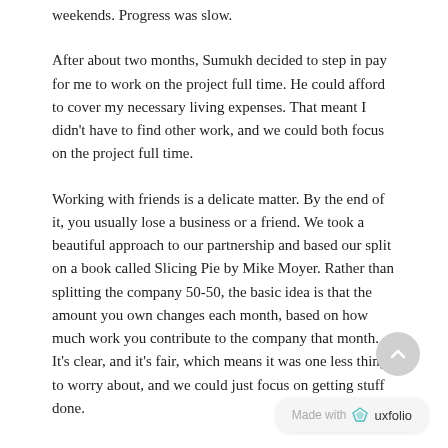weekends. Progress was slow.
After about two months, Sumukh decided to step in pay for me to work on the project full time. He could afford to cover my necessary living expenses. That meant I didn't have to find other work, and we could both focus on the project full time.
Working with friends is a delicate matter. By the end of it, you usually lose a business or a friend. We took a beautiful approach to our partnership and based our split on a book called Slicing Pie by Mike Moyer. Rather than splitting the company 50-50, the basic idea is that the amount you own changes each month, based on how much work you contribute to the company that month. It's clear, and it's fair, which means it was one less thing to worry about, and we could just focus on getting stuff done.
Made with uxfolio